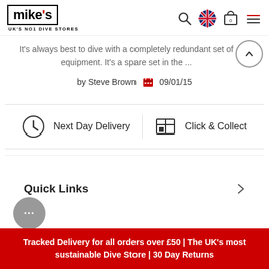[Figure (logo): Mike's UK's No1 Dive Stores logo with black border box and red apostrophe]
It's always best to dive with a completely redundant set of equipment. It's a spare set in the ...
by Steve Brown  09/01/15
Next Day Delivery
Click & Collect
Quick Links
Tracked Delivery for all orders over £50 | The UK's most sustainable Dive Store | 30 Day Returns